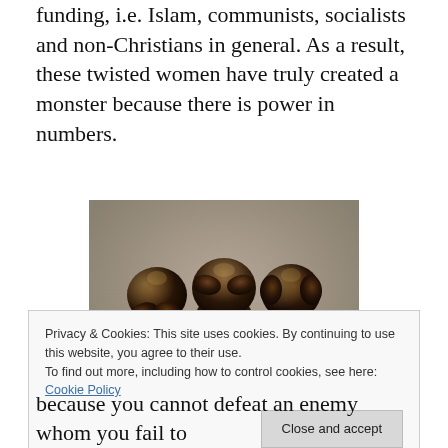funding, i.e. Islam, communists, socialists and non-Christians in general. As a result, these twisted women have truly created a monster because there is power in numbers.
[Figure (photo): Bronze sculpture of three wise monkeys (see no evil, hear no evil, speak no evil) seated side by side.]
Privacy & Cookies: This site uses cookies. By continuing to use this website, you agree to their use.
To find out more, including how to control cookies, see here: Cookie Policy
because you cannot defeat an enemy whom you fail to